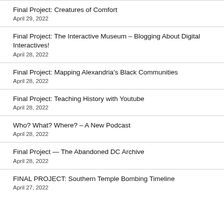Final Project: Creatures of Comfort
April 29, 2022
Final Project: The Interactive Museum – Blogging About Digital Interactives!
April 28, 2022
Final Project: Mapping Alexandria's Black Communities
April 28, 2022
Final Project: Teaching History with Youtube
April 28, 2022
Who? What? Where? – A New Podcast
April 28, 2022
Final Project — The Abandoned DC Archive
April 28, 2022
FINAL PROJECT: Southern Temple Bombing Timeline
April 27, 2022